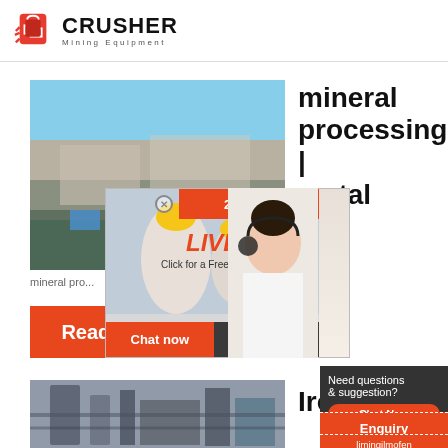CRUSHER Mining Equipment
[Figure (photo): Quarry/open-pit mining site with rock face and equipment]
mineral processing | metal
[Figure (photo): Live Chat overlay with workers in yellow hard hats and customer service representative. Contains: 24Hrs Online, LIVE CHAT, Click for a Free Consultation, Chat now, Chat later buttons]
mineral pro...
Read More
Need questions & suggestion? Chat Now
Enquiry
limingjlmofen@sina.com
[Figure (photo): Industrial facility/factory interior photo]
Iron O...